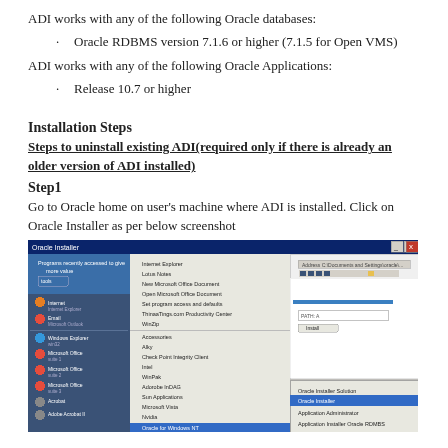ADI works with any of the following Oracle databases:
Oracle RDBMS version 7.1.6 or higher (7.1.5 for Open VMS)
ADI works with any of the following Oracle Applications:
Release 10.7 or higher
Installation Steps
Steps to uninstall existing ADI(required only if there is already an older version of ADI installed)
Step1
Go to Oracle home on user’s machine where ADI is installed. Click on Oracle Installer as per below screenshot
[Figure (screenshot): Screenshot of Windows Start menu showing Oracle for Windows program group with Oracle Installer option highlighted]